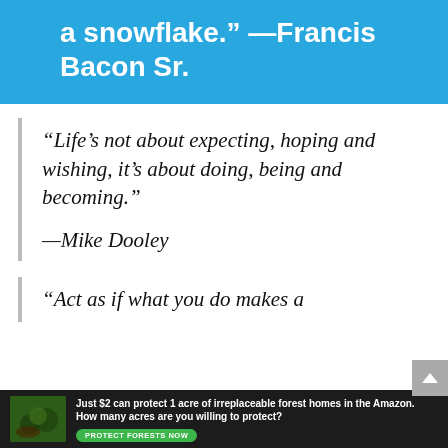a snowflake." —Francis Bacon Sr.
“Life’s not about expecting, hoping and wishing, it’s about doing, being and becoming.”
—Mike Dooley
“Act as if what you do makes a
[Figure (photo): Advertisement banner with forest/Amazon imagery. Text reads: Just $2 can protect 1 acre of irreplaceable forest homes in the Amazon. How many acres are you willing to protect? Button: PROTECT FORESTS NOW]